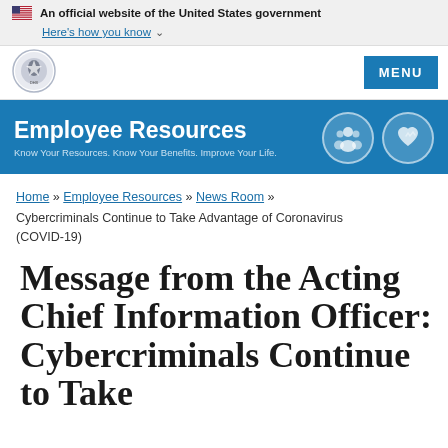An official website of the United States government
Here's how you know
[Figure (logo): DHS Department of Homeland Security circular seal logo]
Employee Resources
Know Your Resources. Know Your Benefits. Improve Your Life.
Home » Employee Resources » News Room »
Cybercriminals Continue to Take Advantage of Coronavirus (COVID-19)
Message from the Acting Chief Information Officer: Cybercriminals Continue to Take